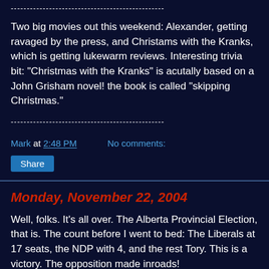Two big movies out this weekend: Alexander, getting ravaged by the press, and Christams with the Kranks, which is getting lukewarm reviews. Interesting trivia bit: "Christmas with the Kranks" is acutally based on a John Grisham novel! the book is called "skipping Christmas."
Mark at 2:48 PM   No comments:
Share
Monday, November 22, 2004
Well, folks. It's all over. The Alberta Provincial Election, that is. The count before I went to bed: The Liberals at 17 seats, the NDP with 4, and the rest Tory. This is a victory. The opposition made inroads!